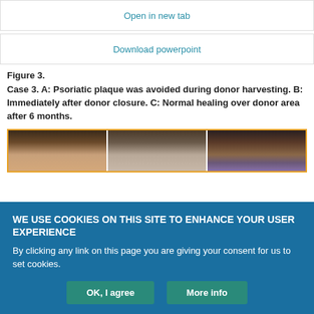Open in new tab
Download powerpoint
Figure 3.
Case 3. A: Psoriatic plaque was avoided during donor harvesting. B: Immediately after donor closure. C: Normal healing over donor area after 6 months.
[Figure (photo): Three side-by-side clinical photographs showing hair/scalp of a patient: Panel A shows psoriatic plaque area avoided during donor harvesting, Panel B shows immediately after donor closure, Panel C shows normal healing over donor area after 6 months.]
WE USE COOKIES ON THIS SITE TO ENHANCE YOUR USER EXPERIENCE
By clicking any link on this page you are giving your consent for us to set cookies.
OK, I agree
More info